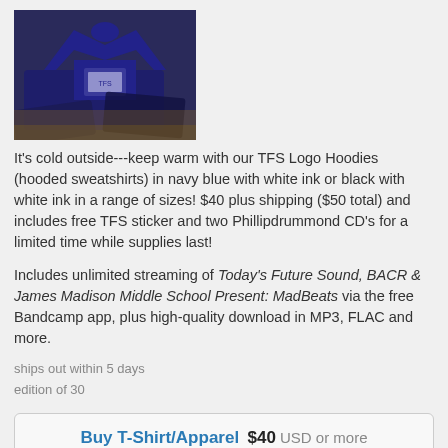[Figure (photo): Photo of navy blue hooded sweatshirts/hoodies with white logo print, laid on a wooden floor]
It's cold outside---keep warm with our TFS Logo Hoodies (hooded sweatshirts) in navy blue with white ink or black with white ink in a range of sizes! $40 plus shipping ($50 total) and includes free TFS sticker and two Phillipdrummond CD's for a limited time while supplies last!
Includes unlimited streaming of Today's Future Sound, BACR & James Madison Middle School Present: MadBeats via the free Bandcamp app, plus high-quality download in MP3, FLAC and more.
ships out within 5 days
edition of 30
Buy T-Shirt/Apparel  $40  USD or more
Send as Gift
Today's Future Sound T-Shirt Classic Logo shirt